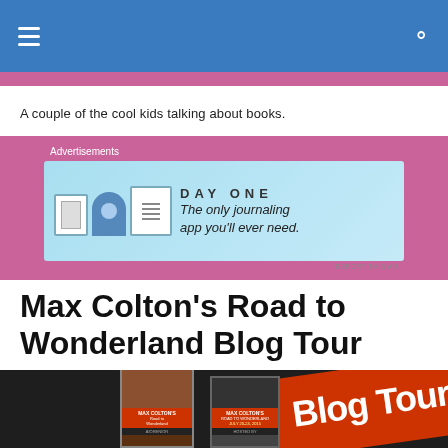A couple of the cool kids talking about books.
[Figure (other): Advertisement banner for Day One journaling app with light blue background, app icons, and text: 'The only journaling app you'll ever need.']
Max Colton's Road to Wonderland Blog Tour
[Figure (photo): Blog tour promotional image with dark background, orange diagonal banner reading 'Blog Tour', book covers for Max Colton's Road to Wonderland, with text MAX COLTON'S ROAD TO WONDERLAND JULY 20-24, 2015 HOSTED BY]